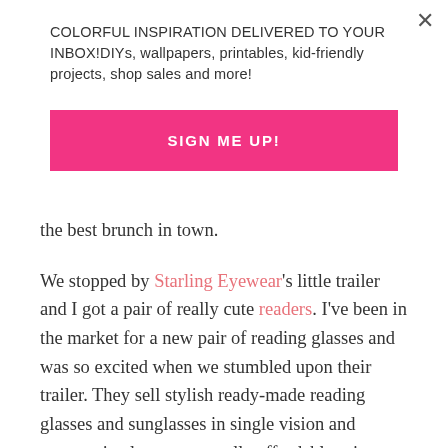COLORFUL INSPIRATION DELIVERED TO YOUR INBOX!DIYs, wallpapers, printables, kid-friendly projects, shop sales and more!
SIGN ME UP!
the best brunch in town.
We stopped by Starling Eyewear's little trailer and I got a pair of really cute readers. I've been in the market for a new pair of reading glasses and was so excited when we stumbled upon their trailer. They sell stylish ready-made reading glasses and sunglasses in single vision and progressive lenses at a really affordable price.